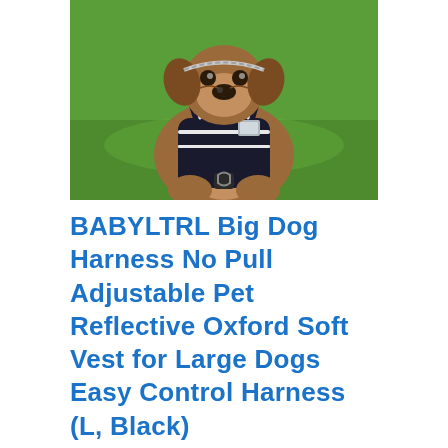[Figure (photo): A bulldog wearing a black reflective Oxford vest harness with white trim and a metal D-ring clip, sitting on green grass. The dog wears a silver chain collar and looks forward.]
BABYLTRL Big Dog Harness No Pull Adjustable Pet Reflective Oxford Soft Vest for Large Dogs Easy Control Harness (L, Black)